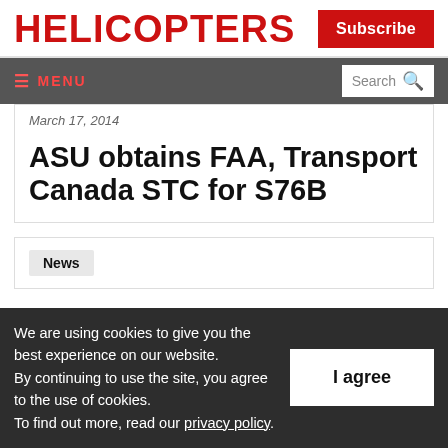HELICOPTERS
Subscribe
≡ MENU   Search 🔍
March 17, 2014
ASU obtains FAA, Transport Canada STC for S76B
News
We are using cookies to give you the best experience on our website. By continuing to use the site, you agree to the use of cookies. To find out more, read our privacy policy.